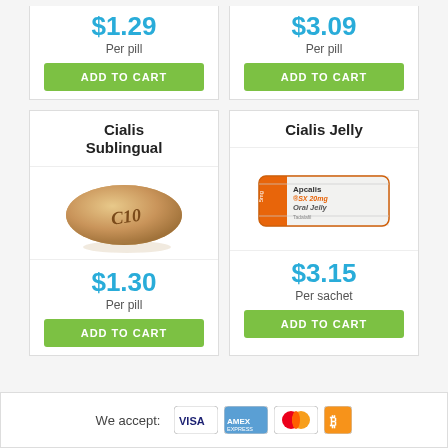[Figure (other): Partial product card top showing $1.29 per pill with ADD TO CART button]
[Figure (other): Partial product card top showing $3.09 per pill with ADD TO CART button]
Cialis Sublingual
[Figure (photo): Cialis Sublingual tablet - round tan pill with C10 imprint]
$1.30 Per pill ADD TO CART
Cialis Jelly
[Figure (photo): Apcalis-SX Oral Jelly sachet package - orange and white packet]
$3.15 Per sachet ADD TO CART
We accept: [VISA] [AMEX] [Mastercard] [Bitcoin]